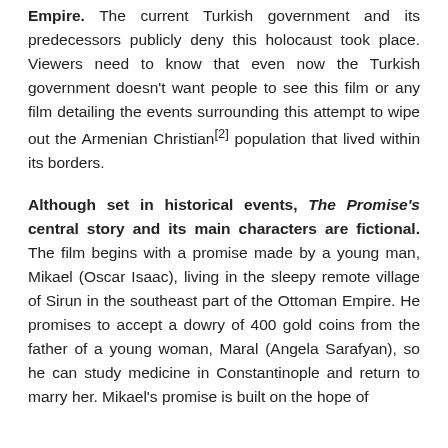Empire. The current Turkish government and its predecessors publicly deny this holocaust took place. Viewers need to know that even now the Turkish government doesn't want people to see this film or any film detailing the events surrounding this attempt to wipe out the Armenian Christian[2] population that lived within its borders.
Although set in historical events, The Promise's central story and its main characters are fictional. The film begins with a promise made by a young man, Mikael (Oscar Isaac), living in the sleepy remote village of Sirun in the southeast part of the Ottoman Empire. He promises to accept a dowry of 400 gold coins from the father of a young woman, Maral (Angela Sarafyan), so he can study medicine in Constantinople and return to marry her. Mikael's promise is built on the hope of